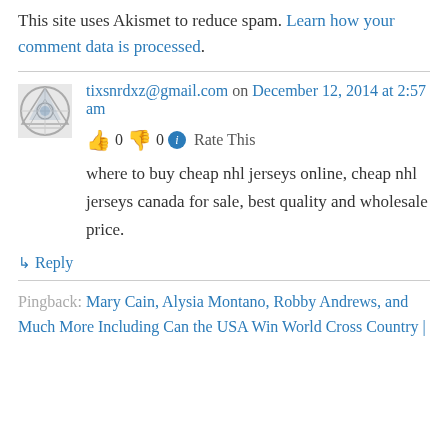This site uses Akismet to reduce spam. Learn how your comment data is processed.
tixsnrdxz@gmail.com on December 12, 2014 at 2:57 am
👍 0 👎 0 ℹ Rate This
where to buy cheap nhl jerseys online, cheap nhl jerseys canada for sale, best quality and wholesale price.
↳ Reply
Pingback: Mary Cain, Alysia Montano, Robby Andrews, and Much More Including Can the USA Win World Cross Country |